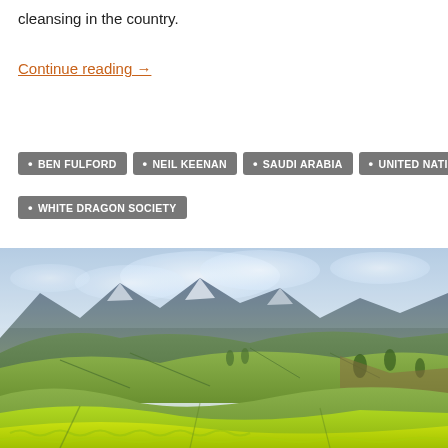cleansing in the country.
Continue reading →
• BEN FULFORD
• NEIL KEENAN
• SAUDI ARABIA
• UNITED NATIONS
• WHITE DRAGON SOCIETY
[Figure (photo): Scenic landscape photograph of lush green tea plantation hills with mountains and cloudy sky in the background]